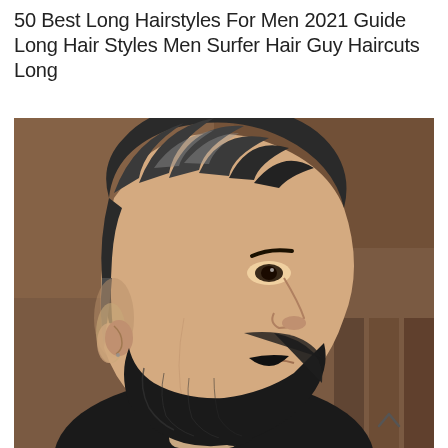50 Best Long Hairstyles For Men 2021 Guide Long Hair Styles Men Surfer Hair Guy Haircuts Long
[Figure (photo): A man shown in profile/three-quarter view with a high skin fade haircut and voluminous textured hair on top, paired with a full dark beard. He is wearing a black t-shirt. The background shows a blurred warm-toned wall.]